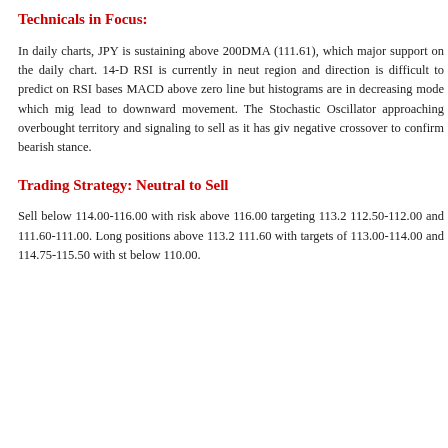Technicals in Focus:
In daily charts, JPY is sustaining above 200DMA (111.61), which major support on the daily chart. 14-D RSI is currently in neut region and direction is difficult to predict on RSI bases MACD above zero line but histograms are in decreasing mode which mig lead to downward movement. The Stochastic Oscillator approaching overbought territory and signaling to sell as it has giv negative crossover to confirm bearish stance.
Trading Strategy: Neutral to Sell
Sell below 114.00-116.00 with risk above 116.00 targeting 113.2 112.50-112.00 and 111.60-111.00. Long positions above 113.2 111.60 with targets of 113.00-114.00 and 114.75-115.50 with st below 110.00.